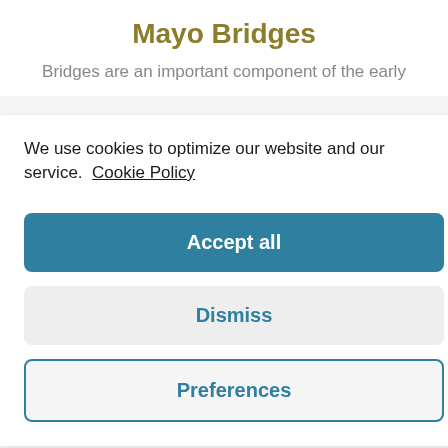Mayo Bridges
Bridges are an important component of the early
We use cookies to optimize our website and our service.  Cookie Policy
Accept all
Dismiss
Preferences
witnessed at the area. During the years, the river regularly